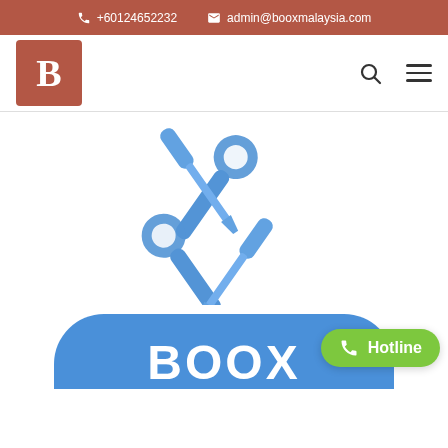+60124652232  admin@booxmalaysia.com
[Figure (logo): Boox Malaysia logo: brown square with white letter B]
[Figure (illustration): Blue crossed screwdriver and wrench tools icon]
[Figure (illustration): Blue rounded rectangle with BOOX text in white, partially visible at bottom]
Hotline